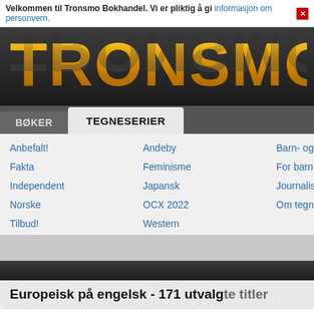Velkommen til Tronsmo Bokhandel. Vi er pliktig å gi informasjon om personvern.
[Figure (logo): Tronsmo bookstore logo in large gold/orange metallic text on dark background]
BØKER
TEGNESERIER
Anbefalt!
Andeby
Barn- og ungdom
Fakta
Feminisme
For barn
Independent
Japansk
Journalistikk
Norske
OCX 2022
Om tegneserier
Tilbud!
Western
Europeisk på engelsk - 171 utvalgte titler
THE JODOROWSKY LIBRARY   RUN LIKE CRAZY RUN LIKE   M